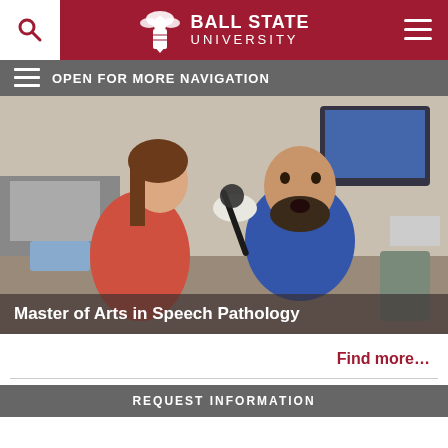Ball State University
[Figure (screenshot): University website screenshot showing Ball State University logo with cardinal bird on dark red header, search icon on left, hamburger menu on right]
OPEN FOR MORE NAVIGATION
[Figure (photo): A female student in gloves performs a clinical procedure using a scope instrument on a bearded male patient in a clinical/lab setting. Both are in a speech pathology clinic room with equipment in the background.]
Master of Arts in Speech Pathology
Find more...
REQUEST INFORMATION